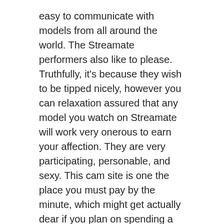easy to communicate with models from all around the world. The Streamate performers also like to please. Truthfully, it's because they wish to be tipped nicely, however you can relaxation assured that any model you watch on Streamate will work very onerous to earn your affection. They are very participating, personable, and sexy. This cam site is one the place you must pay by the minute, which might get actually dear if you plan on spending a lot of time on the positioning. Yes, there are free shows, however they aren't all that good.
There are those who wish to see 18+ teen couples having sex whereas some prefer those who are older or extra mature due to their experience. Sometimes, a 18+ teen broadcaster pairs up with someone older or it could cam sex live be a cam show involving a cougar or a MILF with a youthful partner. Those who are at all times on the go can watch CAM4's mobile couple shows.